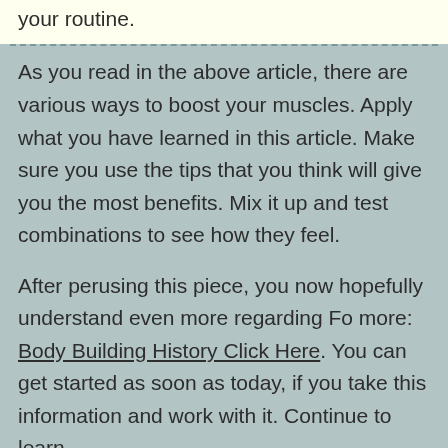your routine.
As you read in the above article, there are various ways to boost your muscles. Apply what you have learned in this article. Make sure you use the tips that you think will give you the most benefits. Mix it up and test combinations to see how they feel.
After perusing this piece, you now hopefully understand even more regarding Fo more: Body Building History Click Here. You can get started as soon as today, if you take this information and work with it. Continue to learn,